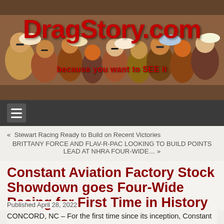[Figure (photo): Header banner with crowd of spectators at a racing event, with DragStory.com logo overlaid]
DragStory.com
because you want to SEE it
« Stewart Racing Ready to Build on Recent Victories
BRITTANY FORCE AND FLAV-R-PAC LOOKING TO BUILD POINTS LEAD AT NHRA FOUR-WIDE… »
Constant Aviation Factory Stock Showdown goes Four-Wide Racing for First Time in History
Published April 28, 2022
CONCORD, NC – For the first time since its inception, Constant Aviation Factory Stock Showdown will be racing four-wide at this weekend's Circle K NHRA Four-Wide Nationals at zMAX Dragway. A new level of